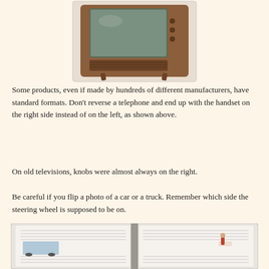[Figure (photo): Vintage wooden television set with knobs on the right side, centered at top of page]
Some products, even if made by hundreds of different manufacturers, have standard formats. Don't reverse a telephone and end up with the handset on the right side instead of on the left, as shown above.
On old televisions, knobs were almost always on the right.
Be careful if you flip a photo of a car or a truck. Remember which side the steering wheel is supposed to be on.
[Figure (photo): Open book with two pages of text, showing a vintage car image on the left page and a person skateboarding on the right page]